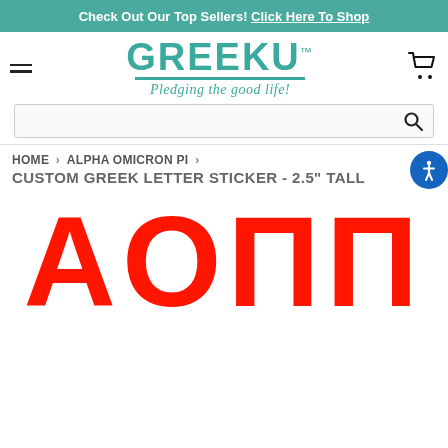Check Out Our Top Sellers! Click Here To Shop
[Figure (logo): GreekU logo with tagline 'Pledging the good life!']
HOME › ALPHA OMICRON PI ›
CUSTOM GREEK LETTER STICKER - 2.5" TALL
[Figure (photo): Red block letters AOΠ (AOTT) on white background, large custom greek letter sticker product image]